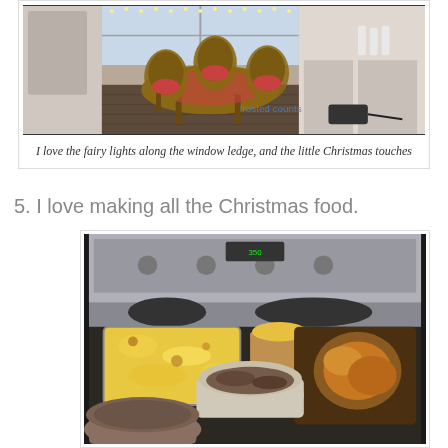[Figure (photo): Photo of a dining area with rattan/wicker chairs around a table, fairy lights along the window ledge, Christmas decorations, dark tile floor]
I love the fairy lights along the window ledge, and the little Christmas touches
5. I love making all the Christmas food.
[Figure (photo): Photo of a kitchen stovetop with various Christmas food dishes including a cheesy casserole, stuffing, gravy, bread rolls/turkey, and a bowl of soup/gravy in the foreground]